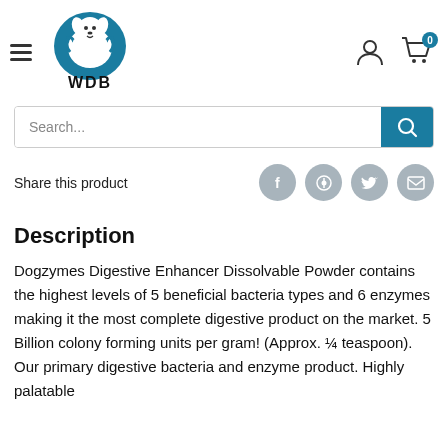[Figure (logo): WDB dog logo with teal circle background and WDB text below]
Search...
Share this product
Description
Dogzymes Digestive Enhancer Dissolvable Powder contains the highest levels of 5 beneficial bacteria types and 6 enzymes making it the most complete digestive product on the market. 5 Billion colony forming units per gram! (Approx. ¼ teaspoon). Our primary digestive bacteria and enzyme product. Highly palatable